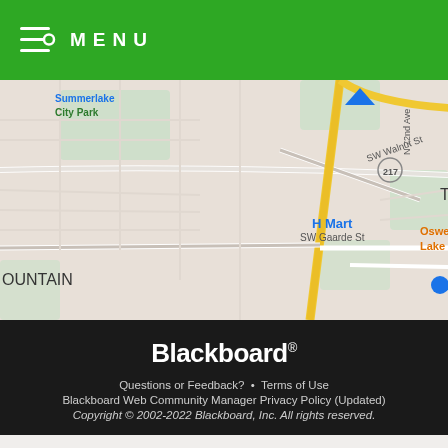MENU
[Figure (map): Google Maps screenshot showing Tigard, Oregon area with H Mart location pinned, showing nearby landmarks: Summerlake City Park, Costco Wholesale, Portland Oregon Temple, Oswego Grill Lake Oswego, Trader Joe's, METZGER, SW Walnut St, SW Gaarde St, SW McDonald St, Route 141, Route 217]
Blackboard® Questions or Feedback? • Terms of Use Blackboard Web Community Manager Privacy Policy (Updated) Copyright © 2002-2022 Blackboard, Inc. All rights reserved.
View Full Site